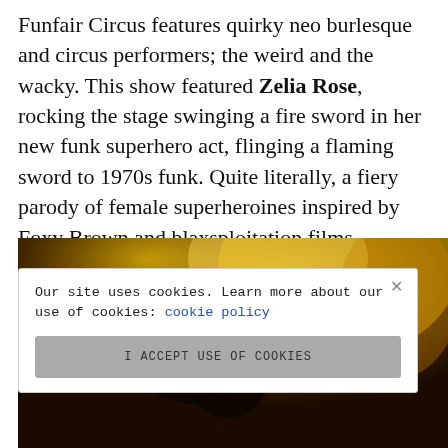Funfair Circus features quirky neo burlesque and circus performers; the weird and the wacky. This show featured Zelia Rose, rocking the stage swinging a fire sword in her new funk superhero act, flinging a flaming sword to 1970s funk. Quite literally, a fiery parody of female superheroines inspired by Foxy Brown and blaxsploitation films.
[Figure (photo): Dark dramatic photo with yellow/orange fire smoke and a silhouetted figure, overlaid with a cookie consent banner]